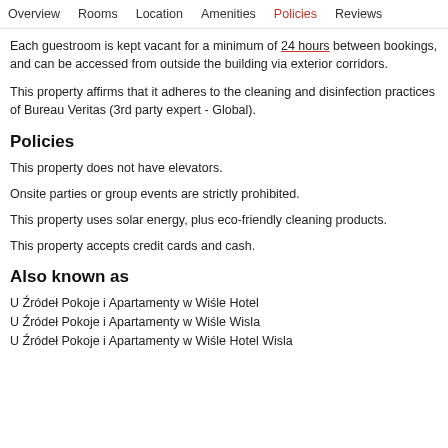Overview  Rooms  Location  Amenities  Policies  Reviews
Each guestroom is kept vacant for a minimum of 24 hours between bookings, and can be accessed from outside the building via exterior corridors.
This property affirms that it adheres to the cleaning and disinfection practices of Bureau Veritas (3rd party expert - Global).
Policies
This property does not have elevators.
Onsite parties or group events are strictly prohibited.
This property uses solar energy, plus eco-friendly cleaning products.
This property accepts credit cards and cash.
Also known as
U Źródeł Pokoje i Apartamenty w Wiśle Hotel
U Źródeł Pokoje i Apartamenty w Wiśle Wisla
U Źródeł Pokoje i Apartamenty w Wiśle Hotel Wisla